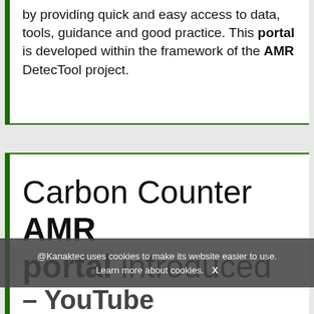by providing quick and easy access to data, tools, guidance and good practice. This portal is developed within the framework of the AMR DetecTool project.
Carbon Counter AMR portal introduced – YouTube
https://www.youtube.com/watch?
@Kanaktec uses cookies to make its website easier to use. Learn more about cookies. X